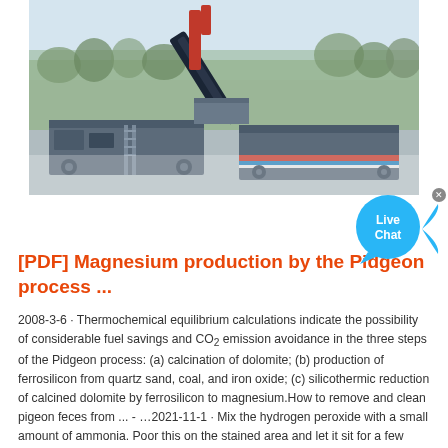[Figure (photo): Aerial view of industrial mining or processing equipment with conveyor belts and machinery, photographed outdoors with trees/vegetation in the background]
[PDF] Magnesium production by the Pidgeon process ...
2008-3-6 · Thermochemical equilibrium calculations indicate the possibility of considerable fuel savings and CO2 emission avoidance in the three steps of the Pidgeon process: (a) calcination of dolomite; (b) production of ferrosilicon from quartz sand, coal, and iron oxide; (c) silicothermic reduction of calcined dolomite by ferrosilicon to magnesium.How to remove and clean pigeon feces from ... - …2021-11-1 · Mix the hydrogen peroxide with a small amount of ammonia. Poor this on the stained area and let it sit for a few minutes to let the chemical process begin. You should begin to see it loosen up, but it